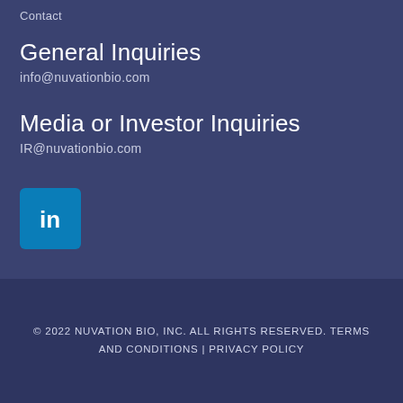Contact
General Inquiries
info@nuvationbio.com
Media or Investor Inquiries
IR@nuvationbio.com
[Figure (logo): LinkedIn logo icon — white 'in' text on a cyan/blue rounded square background]
© 2022 NUVATION BIO, INC. ALL RIGHTS RESERVED. TERMS AND CONDITIONS | PRIVACY POLICY